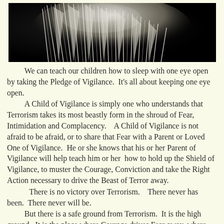[Figure (photo): Close-up photograph of white eagle feathers against a dark background, showing spiky feather tips.]
We can teach our children how to sleep with one eye open by taking the Pledge of Vigilance. It's all about keeping one eye open.
A Child of Vigilance is simply one who understands that Terrorism takes its most beastly form in the shroud of Fear, Intimidation and Complacency. A Child of Vigilance is not afraid to be afraid, or to share that Fear with a Parent or Loved One of Vigilance. He or she knows that his or her Parent of Vigilance will help teach him or her how to hold up the Shield of Vigilance, to muster the Courage, Conviction and take the Right Action necessary to drive the Beast of Terror away.
There is no victory over Terrorism. There never has been. There never will be.
But there is a safe ground from Terrorism. It is the high ground. It is the place where Courage drives Fear away, where Conviction thwarts Intimidation and where Right Action starves Complacency from metastasizing.
When we realize that Vigilance is not just a response to Terrorism, but the front line defense against its invasion, then our children will be able to sleep soundly--but always with one